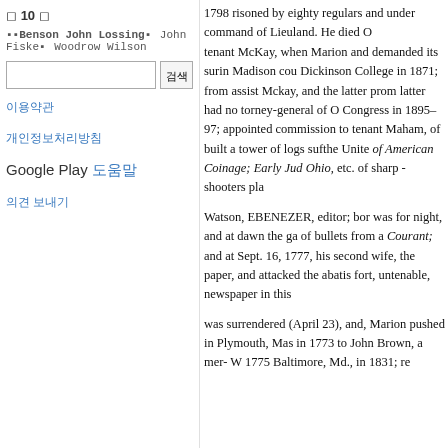◻ 10 ◻
▪▪Benson John Lossing▪ John Fiske▪ Woodrow Wilson
[search input] [검색 button]
이용약관
개인정보처리방침
Google Play 도움말
의견 보내기
1798 risoned by eighty regulars and under command of Lieuland. He died O
tenant McKay, when Marion and demanded its surin Madison cou Dickinson College in 1871; from assist Mckay, and the latter prom latter had no torney-general of O Congress in 1895–97; appointed commission to tenant Maham, of built a tower of logs sufthe Unite of American Coinage; Early Jud Ohio, etc. of sharp - shooters pla
Watson, EBENEZER, editor; bor was for night, and at dawn the ga of bullets from a Courant; and at Sept. 16, 1777, his second wife, the paper, and attacked the abatis fort, untenable, newspaper in this
was surrendered (April 23), and, Marion pushed in Plymouth, Mas in 1773 to John Brown, a mer- W 1775 Baltimore, Md., in 1831; re